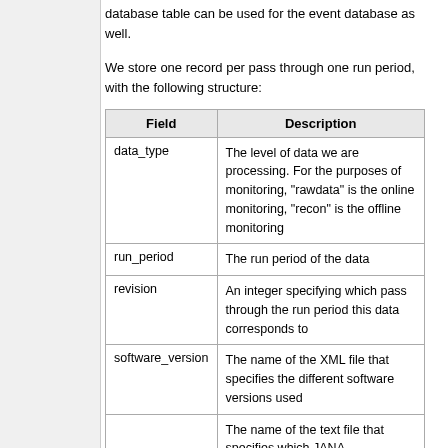database table can be used for the event database as well.
We store one record per pass through one run period, with the following structure:
| Field | Description |
| --- | --- |
| data_type | The level of data we are processing. For the purposes of monitoring, "rawdata" is the online monitoring, "recon" is the offline monitoring |
| run_period | The run period of the data |
| revision | An integer specifying which pass through the run period this data corresponds to |
| software_version | The name of the XML file that specifies the different software versions used |
|  | The name of the text file that specifies which JANA |